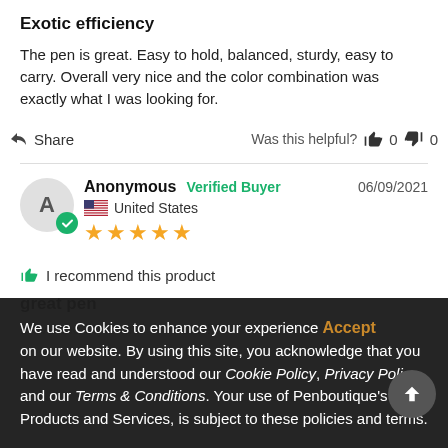Exotic efficiency
The pen is great. Easy to hold, balanced, sturdy, easy to carry. Overall very nice and the color combination was exactly what I was looking for.
Share   Was this helpful?  0  0
Anonymous  Verified Buyer  06/09/2021  United States  ★★★★★
I recommend this product
great pen
I love the style and the color!!!
We use Cookies to enhance your experience on our website. By using this site, you acknowledge that you have read and understood our Cookie Policy, Privacy Policy, and our Terms & Conditions. Your use of Penboutique's Products and Services, is subject to these policies and terms.  Accept